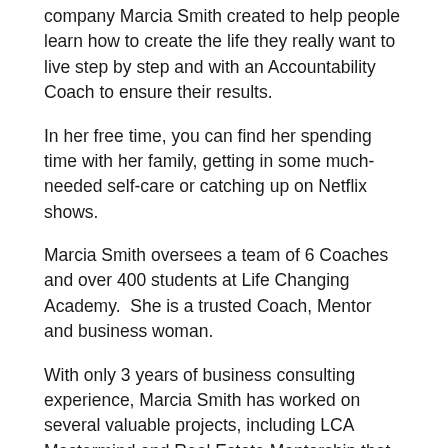company Marcia Smith created to help people learn how to create the life they really want to live step by step and with an Accountability Coach to ensure their results.
In her free time, you can find her spending time with her family, getting in some much-needed self-care or catching up on Netflix shows.
Marcia Smith oversees a team of 6 Coaches and over 400 students at Life Changing Academy.  She is a trusted Coach, Mentor and business woman.
With only 3 years of business consulting experience, Marcia Smith has worked on several valuable projects, including LCA Mastermind and Real Estate Mentorship that has helped her to become an industry leader in the business consulting and Mentorship space.